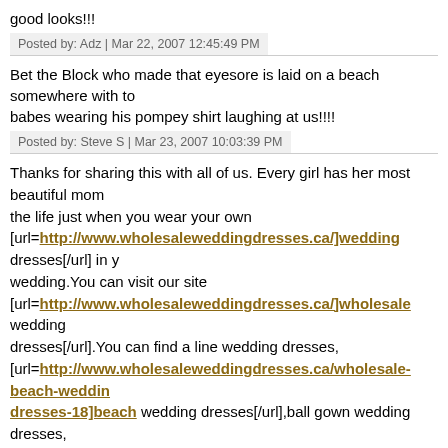good looks!!!
Posted by: Adz | Mar 22, 2007 12:45:49 PM
Bet the Block who made that eyesore is laid on a beach somewhere with to babes wearing his pompey shirt laughing at us!!!!
Posted by: Steve S | Mar 23, 2007 10:03:39 PM
Thanks for sharing this with all of us. Every girl has her most beautiful mom the life just when you wear your own [url=http://www.wholesaleweddingdresses.ca/]wedding dresses[/url] in y wedding.You can visit our site [url=http://www.wholesaleweddingdresses.ca/]wholesale wedding dresses[/url].You can find a line wedding dresses, [url=http://www.wholesaleweddingdresses.ca/wholesale-beach-wedding-dresses-18]beach wedding dresses[/url],ball gown wedding dresses, [url=http://www.wholesaleweddingdresses.ca/wholesale-empire-wedding-dresses-35]empire wedding dresses[/url], mother of the bride dresses, [url=http://www.wholesaleweddingdresses.ca/wholesale-column-wedding-dresses-25]column wedding dresses[/url], flower girl dresses, [url=http://www.wholesaleweddingdresses.ca/wholesale-tea-length-wedding-dresses-24]tea length wedding dresses[/url],2011 style wedding dresses, [url=http://www.wholesaleweddingdresses.ca/wholesale-strapless-wedding-dresses-34]strapless wedding dresses[/url]